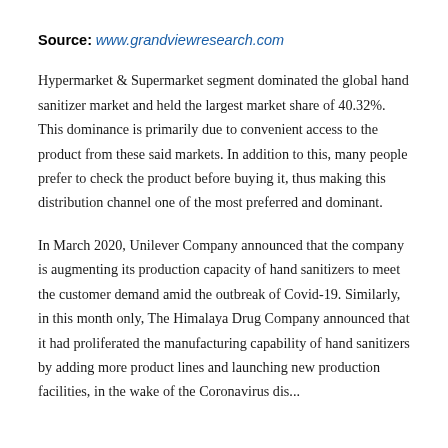Source: www.grandviewresearch.com
Hypermarket & Supermarket segment dominated the global hand sanitizer market and held the largest market share of 40.32%. This dominance is primarily due to convenient access to the product from these said markets. In addition to this, many people prefer to check the product before buying it, thus making this distribution channel one of the most preferred and dominant.
In March 2020, Unilever Company announced that the company is augmenting its production capacity of hand sanitizers to meet the customer demand amid the outbreak of Covid-19. Similarly, in this month only, The Himalaya Drug Company announced that it had proliferated the manufacturing capability of hand sanitizers by adding more product lines and launching new production facilities, in the wake of the Coronavirus disease...